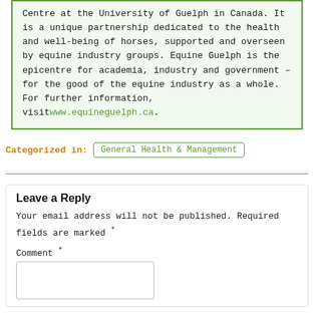Equine Guelph is the horse owners and care givers Centre at the University of Guelph in Canada. It is a unique partnership dedicated to the health and well-being of horses, supported and overseen by equine industry groups. Equine Guelph is the epicentre for academia, industry and government – for the good of the equine industry as a whole. For further information, visit www.equineguelph.ca.
Categorized in: General Health & Management
Leave a Reply
Your email address will not be published. Required fields are marked *
Comment *